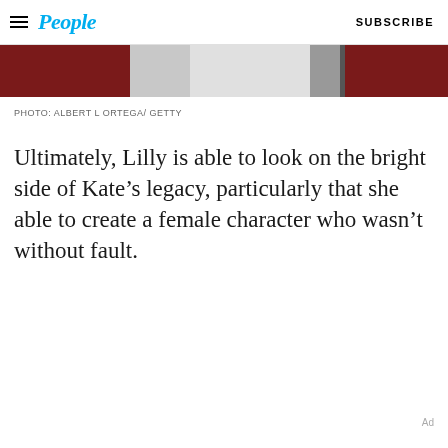People | SUBSCRIBE
[Figure (photo): Partial photo showing a person, cropped at top of page, with dark red/maroon and gray tones]
PHOTO: ALBERT L ORTEGA/ GETTY
Ultimately, Lilly is able to look on the bright side of Kate’s legacy, particularly that she able to create a female character who wasn’t without fault.
Ad